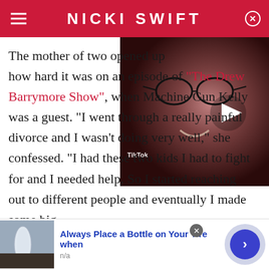NICKI SWIFT
[Figure (screenshot): Video thumbnail showing a person with glasses and a TikTok watermark, with a white play button overlay]
The mother of two opened up how hard it was on an episode of "The Drew Barrymore Show", when Machine Gun Kelly was a guest. "I went through a really painful divorce and I wasn't doing very well," she confessed. "I had these two kids I had to fight for and I needed help. So I started reaching out to different people and eventually I made some big
[Figure (screenshot): Advertisement banner: Always Place a Bottle on Your Tire when, with a water bottle image and blue arrow button. Sub-label: n/a]